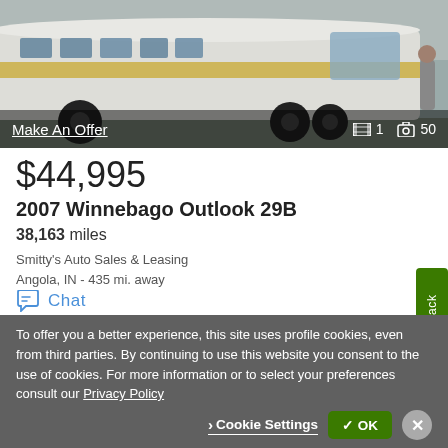[Figure (photo): Photo of a 2007 Winnebago Outlook 29B motorhome RV, white/grey exterior with gold stripe, parked outdoors]
Make An Offer
1  50
$44,995
2007 Winnebago Outlook 29B
38,163 miles
Smitty's Auto Sales & Leasing
Angola, IN - 435 mi. away
Chat
Email
Call
Feedback
To offer you a better experience, this site uses profile cookies, even from third parties. By continuing to use this website you consent to the use of cookies. For more information or to select your preferences consult our Privacy Policy
Cookie Settings
✓ OK
✕